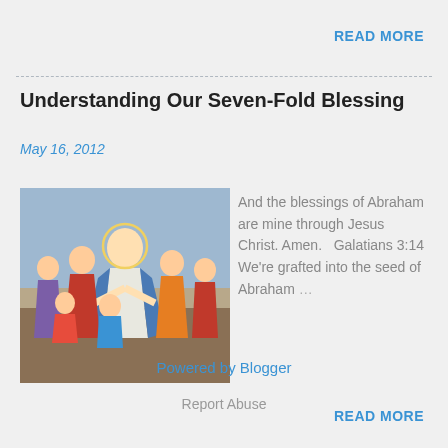READ MORE
Understanding Our Seven-Fold Blessing
May 16, 2012
[Figure (illustration): Religious painting depicting Jesus Christ with people gathered around him, colorful robes in red, blue, and white.]
And the blessings of Abraham are mine through Jesus Christ. Amen.   Galatians 3:14 We're grafted into the seed of Abraham …
READ MORE
Powered by Blogger
Report Abuse